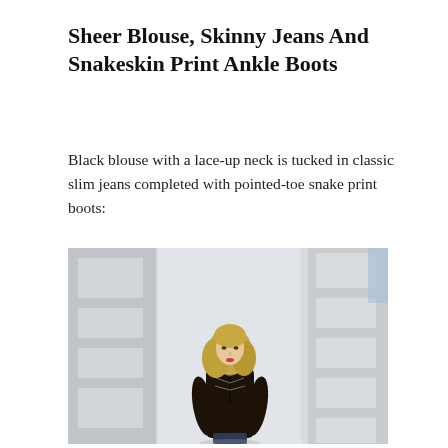Sheer Blouse, Skinny Jeans And Snakeskin Print Ankle Boots
Black blouse with a lace-up neck is tucked in classic slim jeans completed with pointed-toe snake print boots:
[Figure (photo): A blonde woman wearing a dark sheer lace-up neck blouse tucked into slim jeans, standing in front of a modern building with white angular architectural elements.]